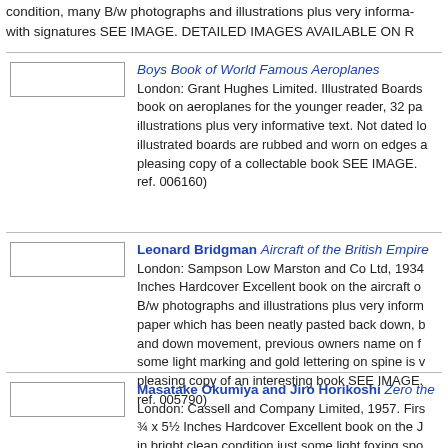condition, many B/w photographs and illustrations plus very informative text with signatures SEE IMAGE. DETAILED IMAGES AVAILABLE ON REQUEST
Boys Book of World Famous Aeroplanes — London: Grant Hughes Limited. Illustrated Boards book on aeroplanes for the younger reader, 32 pages illustrations plus very informative text. Not dated but illustrated boards are rubbed and worn on edges a pleasing copy of a collectable book SEE IMAGE. ref. 006160)
Leonard Bridgman Aircraft of the British Empire — London: Sampson Low Marston and Co Ltd, 1934 Inches Hardcover Excellent book on the aircraft B/w photographs and illustrations plus very informative paper which has been neatly pasted back down, b and down movement, previous owners name on f some light marking and gold lettering on spine is v pleasing copy of an interesting book SEE IMAGE. ref. 005790)
Masatake Okumiya and Jiro Horikoshi Zero the — London: Cassell and Company Limited, 1957. First 3/4 x 5½ Inches Hardcover Excellent book on the J in bright clean condition just some light foxing spots browned. Many B/w photographs, illustrations and dustwrapper, outer boards bright just slightly faded IMAGES AVAILABLE ON REQUEST (Book ref. 00